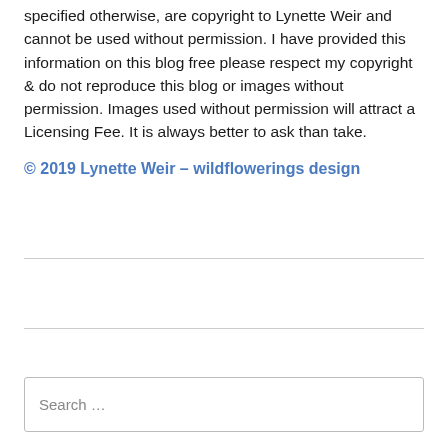specified otherwise, are copyright to Lynette Weir and cannot be used without permission. I have provided this information on this blog free please respect my copyright & do not reproduce this blog or images without permission. Images used without permission will attract a Licensing Fee. It is always better to ask than take.
© 2019 Lynette Weir – wildflowerings design